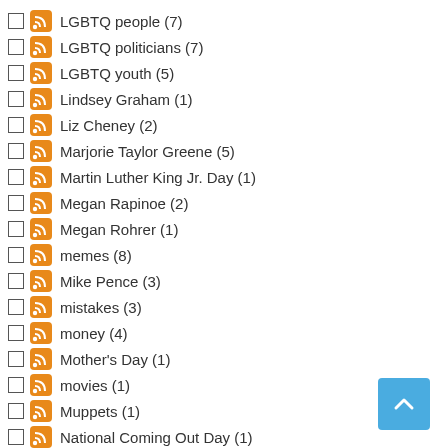LGBTQ people (7)
LGBTQ politicians (7)
LGBTQ youth (5)
Lindsey Graham (1)
Liz Cheney (2)
Marjorie Taylor Greene (5)
Martin Luther King Jr. Day (1)
Megan Rapinoe (2)
Megan Rohrer (1)
memes (8)
Mike Pence (3)
mistakes (3)
money (4)
Mother's Day (1)
movies (1)
Muppets (1)
National Coming Out Day (1)
National Pet Day (1)